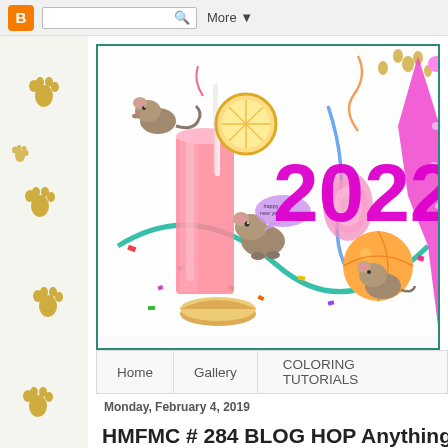[Figure (screenshot): Blogger navigation bar with orange B icon, search box, and More dropdown]
[Figure (illustration): Blog header banner showing cartoon mice celebrating New Year 2022 with pink drink, confetti, streamers, party hat, and orange slices. Large magenta '2022' text overlay.]
Home | Gallery | COLORING TUTORIALS
Monday, February 4, 2019
HMFMC # 284 BLOG HOP Anything G